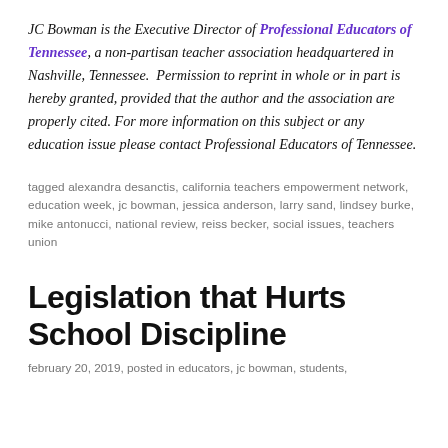JC Bowman is the Executive Director of Professional Educators of Tennessee, a non-partisan teacher association headquartered in Nashville, Tennessee.  Permission to reprint in whole or in part is hereby granted, provided that the author and the association are properly cited. For more information on this subject or any education issue please contact Professional Educators of Tennessee.
tagged alexandra desanctis, california teachers empowerment network, education week, jc bowman, jessica anderson, larry sand, lindsey burke, mike antonucci, national review, reiss becker, social issues, teachers union
Legislation that Hurts School Discipline
february 20, 2019, posted in educators, jc bowman, students,